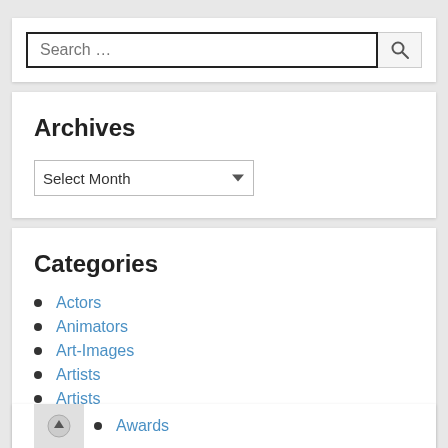[Figure (screenshot): Search input box with placeholder text 'Search ...' and a magnifying glass search button]
Archives
[Figure (screenshot): Dropdown select element with 'Select Month' placeholder]
Categories
Actors
Animators
Art-Images
Artists
Artists
Audio
Authors
Awards